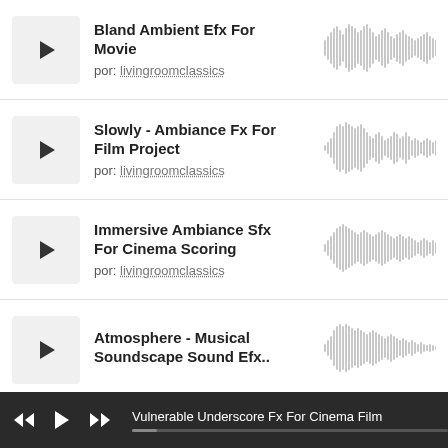Bland Ambient Efx For Movie
por: livingroomclassics
[Figure (other): Audio waveform visualization for Bland Ambient Efx For Movie]
Slowly - Ambiance Fx For Film Project
por: livingroomclassics
[Figure (other): Audio waveform visualization for Slowly - Ambiance Fx For Film Project]
Immersive Ambiance Sfx For Cinema Scoring
por: livingroomclassics
[Figure (other): Audio waveform visualization for Immersive Ambiance Sfx For Cinema Scoring]
Atmosphere - Musical Soundscape Sound Efx...
por: livingroomclassics
[Figure (other): Audio waveform visualization for Atmosphere - Musical Soundscape Sound Efx]
Vulnerable Underscore Fx For Cinema Film